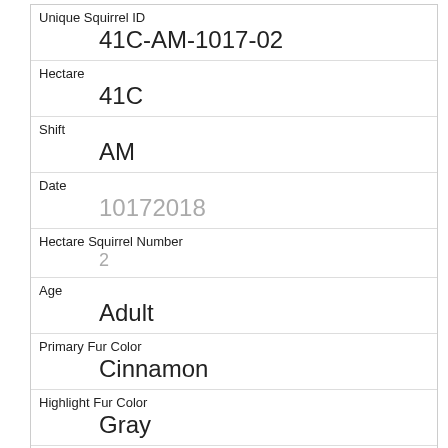| Field | Value |
| --- | --- |
| Unique Squirrel ID | 41C-AM-1017-02 |
| Hectare | 41C |
| Shift | AM |
| Date | 10172018 |
| Hectare Squirrel Number | 2 |
| Age | Adult |
| Primary Fur Color | Cinnamon |
| Highlight Fur Color | Gray |
| Combination of Primary and Highlight Color | Cinnamon+Gray |
| Color notes |  |